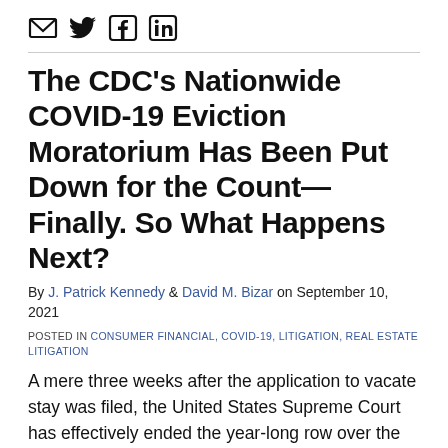[Figure (other): Social media sharing icons: email, Twitter, Facebook, LinkedIn]
The CDC's Nationwide COVID-19 Eviction Moratorium Has Been Put Down for the Count—Finally. So What Happens Next?
By J. Patrick Kennedy & David M. Bizar on September 10, 2021
POSTED IN CONSUMER FINANCIAL, COVID-19, LITIGATION, REAL ESTATE LITIGATION
A mere three weeks after the application to vacate stay was filed, the United States Supreme Court has effectively ended the year-long row over the